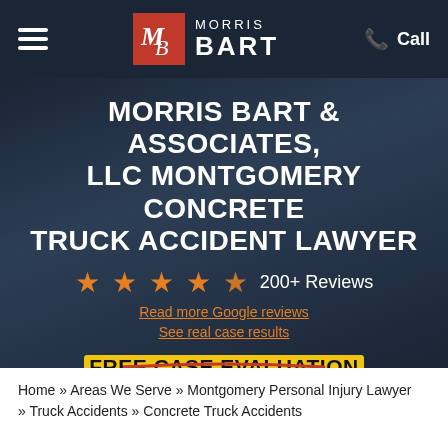MORRIS BART — Navigation bar with hamburger menu, logo, and Call button
MORRIS BART & ASSOCIATES, LLC MONTGOMERY CONCRETE TRUCK ACCIDENT LAWYER
★★★★½  200+ Reviews
Read more Google reviews
See real case results
FREE CASE EVALUATION
Home » Areas We Serve » Montgomery Personal Injury Lawyer » Truck Accidents » Concrete Truck Accidents